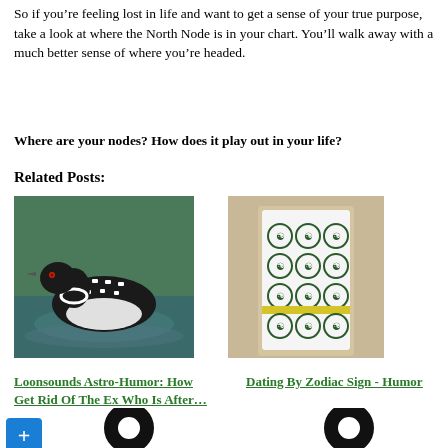So if you’re feeling lost in life and want to get a sense of your true purpose, take a look at where the North Node is in your chart. You’ll walk away with a much better sense of where you’re headed.
Where are your nodes? How does it play out in your life?
Related Posts:
[Figure (photo): A loon bird swimming on water, viewed from the side, with distinctive black and white patterned plumage]
[Figure (photo): A dress on a mannequin, white with green circular zodiac/yin-yang print pattern, sleeveless]
Loonsounds Astro-Humor: How Get Rid Of The Ex Who Is After…
Dating By Zodiac Sign - Humor
[Figure (illustration): Large black circle outline / ring icon (left side bottom)]
[Figure (illustration): Large black circle outline / ring icon (right side bottom)]